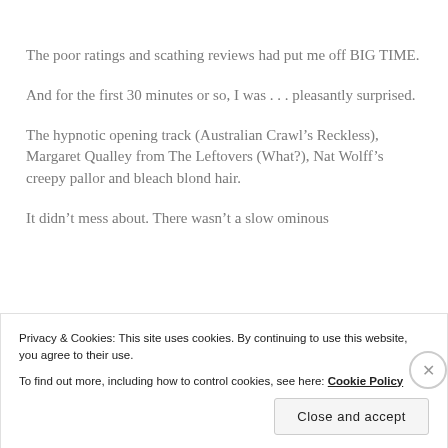The poor ratings and scathing reviews had put me off BIG TIME.
And for the first 30 minutes or so, I was . . . pleasantly surprised.
The hypnotic opening track (Australian Crawl’s Reckless), Margaret Qualley from The Leftovers (What?), Nat Wolff’s creepy pallor and bleach blond hair.
It didn’t mess about. There wasn’t a slow ominous
Privacy & Cookies: This site uses cookies. By continuing to use this website, you agree to their use.
To find out more, including how to control cookies, see here: Cookie Policy
Close and accept